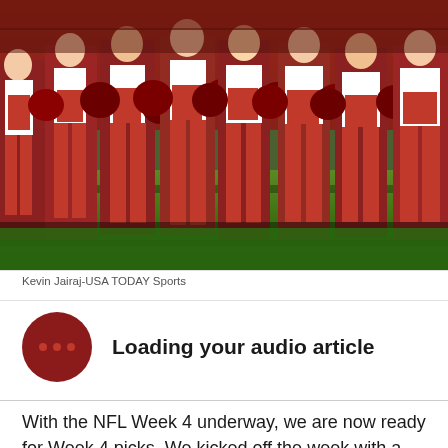[Figure (photo): NFL cheerleaders in red and white uniforms with red boots and red pom-poms lined up on football field sideline]
Kevin Jairaj-USA TODAY Sports
Loading your audio article
With the NFL Week 4 underway, we are now ready for Week 4 picks. We kicked off the week with a Thursday